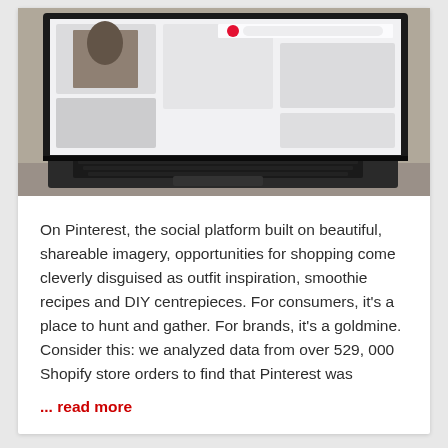[Figure (photo): Laptop computer showing Pinterest-like social media feed on screen, photographed from front-side angle on a desk]
On Pinterest, the social platform built on beautiful, shareable imagery, opportunities for shopping come cleverly disguised as outfit inspiration, smoothie recipes and DIY centrepieces. For consumers, it’s a place to hunt and gather. For brands, it’s a goldmine. Consider this: we analyzed data from over 529, 000 Shopify store orders to find that Pinterest was
... read more